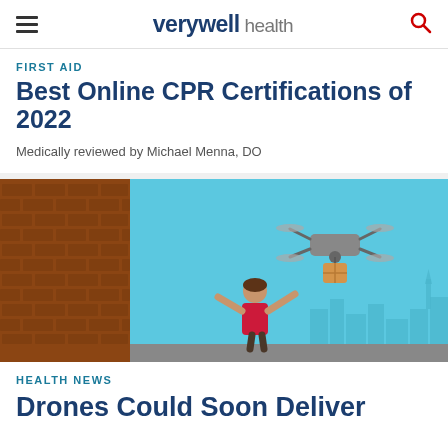verywell health
FIRST AID
Best Online CPR Certifications of 2022
Medically reviewed by Michael Menna, DO
[Figure (illustration): Animated illustration showing a person with arms outstretched reaching toward a drone delivering a package, against a blue sky background with city skyline and brick building on the left.]
HEALTH NEWS
Drones Could Soon Deliver